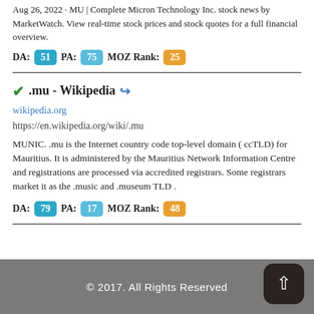Aug 26, 2022 · MU | Complete Micron Technology Inc. stock news by MarketWatch. View real-time stock prices and stock quotes for a full financial overview.
DA: 51 PA: 75 MOZ Rank: 25
✔.mu - Wikipedia 🔗
wikipedia.org
https://en.wikipedia.org/wiki/.mu
MUNIC. .mu is the Internet country code top-level domain ( ccTLD) for Mauritius. It is administered by the Mauritius Network Information Centre and registrations are processed via accredited registrars. Some registrars market it as the .music and .museum TLD .
DA: 79 PA: 17 MOZ Rank: 48
© 2017. All Rights Reserved